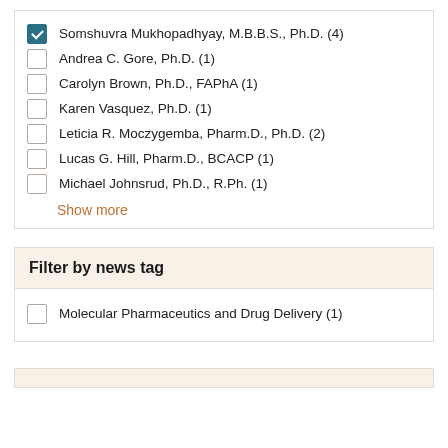Somshuvra Mukhopadhyay, M.B.B.S., Ph.D. (4)
Andrea C. Gore, Ph.D. (1)
Carolyn Brown, Ph.D., FAPhA (1)
Karen Vasquez, Ph.D. (1)
Leticia R. Moczygemba, Pharm.D., Ph.D. (2)
Lucas G. Hill, Pharm.D., BCACP (1)
Michael Johnsrud, Ph.D., R.Ph. (1)
Show more
Filter by news tag
Molecular Pharmaceutics and Drug Delivery (1)